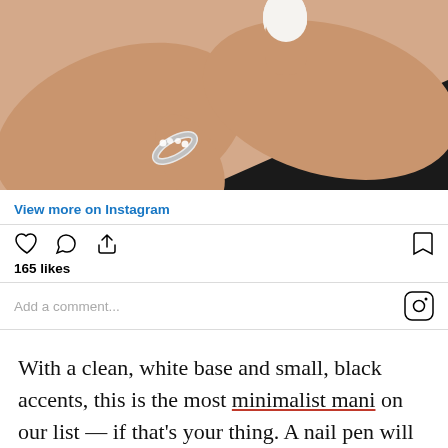[Figure (photo): Close-up of two hands crossed at the wrists. One finger has a diamond eternity band ring with white/silver stones. One fingernail is painted white. Background has a black triangular shape.]
View more on Instagram
165 likes
Add a comment...
With a clean, white base and small, black accents, this is the most minimalist mani on our list — if that's your thing. A nail pen will give you the precision to recreate that tiny text.